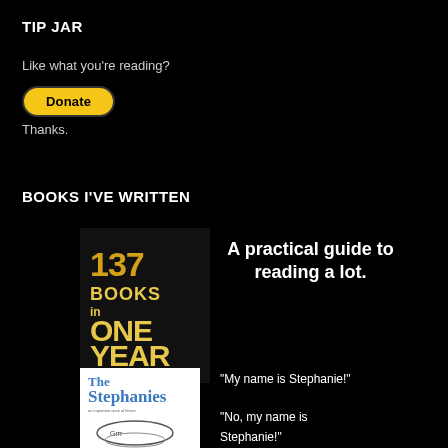TIP JAR
Like what you're reading?
[Figure (other): Yellow PayPal Donate button with rounded rectangle shape on black background]
Thanks.
BOOKS I'VE WRITTEN
[Figure (illustration): Book cover: '137 Books in One Year: How to Fall in Love With Reading' by Kevin B. Avemann — stylized golden/white lettering on black background]
A practical guide to reading a lot.
[Figure (illustration): Book cover: 'The Stephanies' — blue handwritten title with illustrated figures below on white background]
“My name is Stephanie!”

“No, my name is Stephanie!”